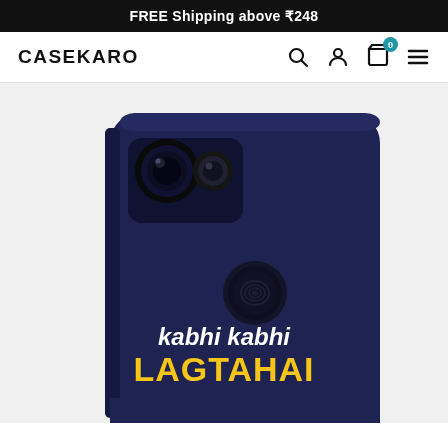FREE Shipping above ₹248
CASEKARO
[Figure (photo): Product photo of a dark navy blue phone case for a Google Pixel device. The case shows a camera module cutout at the top left with dual camera and flash. There is a circular fingerprint sensor cutout in the middle. The case has printed text reading 'kabhi kabhi LAGTA HAI' in white and yellow stylized fonts against the navy background.]